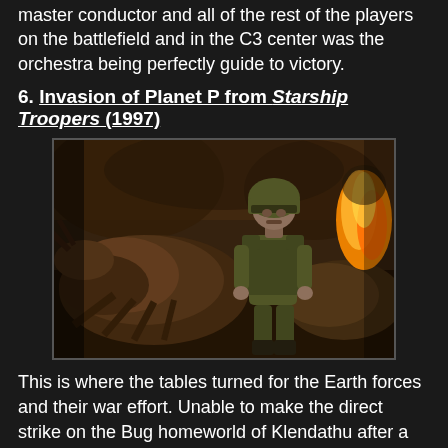master conductor and all of the rest of the players on the battlefield and in the C3 center was the orchestra being perfectly guide to victory.
6. Invasion of Planet P from Starship Troopers (1997)
[Figure (photo): Movie still from Starship Troopers (1997) showing a soldier in military gear and helmet standing among large alien bug creatures with fire in the background.]
This is where the tables turned for the Earth forces and their war effort. Unable to make the direct strike on the Bug homeworld of Klendathu after a bloody failed invastion, the plan was to "planet-hop" back to their homeworld. It is here, on Planet P, that once home to a illegal Mormon colony, that the Federation forces locates a brain-bug. In the 1997 film, there are two battles shown on Planet P. One was the scouting expedition to the Mormon outpost by the Roughnecks and then the full-on assault by the Federation